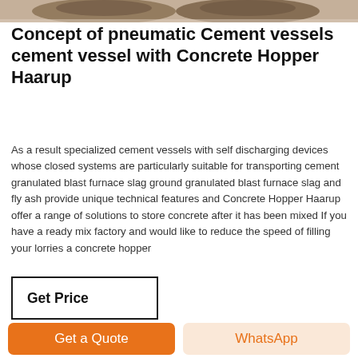[Figure (photo): Top portion of a photo showing cement/industrial vessels or hoppers with brownish tones, partially visible at the top of the page.]
Concept of pneumatic Cement vessels cement vessel with Concrete Hopper Haarup
As a result specialized cement vessels with self discharging devices whose closed systems are particularly suitable for transporting cement granulated blast furnace slag ground granulated blast furnace slag and fly ash provide unique technical features and Concrete Hopper Haarup offer a range of solutions to store concrete after it has been mixed If you have a ready mix factory and would like to reduce the speed of filling your lorries a concrete hopper
Get Price
[Figure (photo): Bottom portion showing dark grey rock/stone aggregate chunks, partially visible at the bottom of the page.]
Get a Quote
WhatsApp